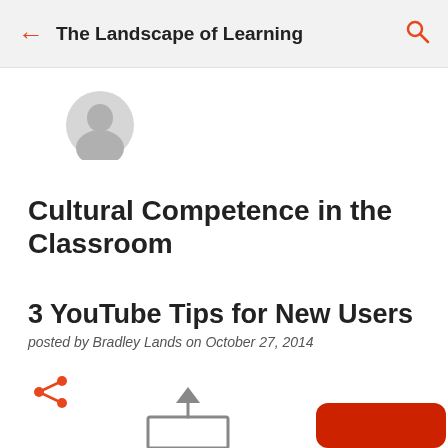The Landscape of Learning
[Figure (photo): Circular profile picture placeholder, light gray silhouette on white background]
Cultural Competence in the Classroom
3 YouTube Tips for New Users
posted by Bradley Lands on October 27, 2014
[Figure (illustration): Orange share icon (network/share symbol)]
[Figure (illustration): Upload/export icon (upward arrow with rectangle base) and partial YouTube red rounded rectangle button at bottom of page]